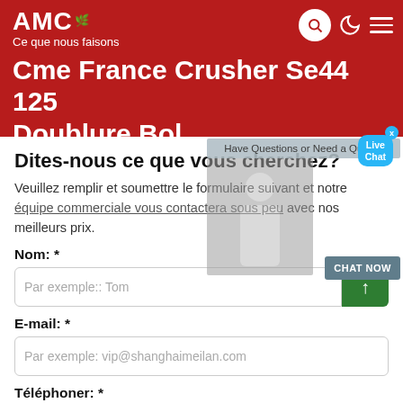AMC Ce que nous faisons
Cme France Crusher Se44 125 Doublure Bol
Dites-nous ce que vous cherchez?
Veuillez remplir et soumettre le formulaire suivant et notre équipe commerciale vous contactera sous peu avec nos meilleurs prix.
Nom: *
Par exemple:: Tom
E-mail: *
Par exemple: vip@shanghaimeilan.com
Téléphoner: *